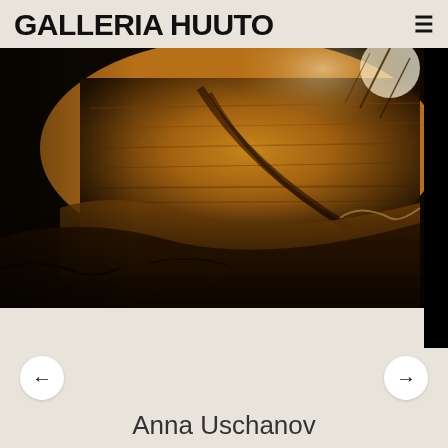GALLERIA HUUTO
[Figure (photo): Close-up photograph of charred or weathered wood logs with dark organic material and twigs, warm amber/brown tones with dramatic lighting against a dark background]
Anna Uschanov
Traces